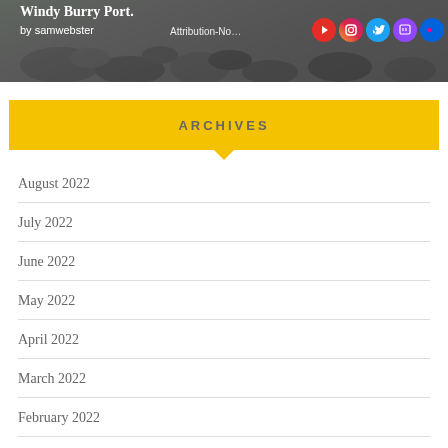[Figure (photo): Banner photo of rocky coastline (Windy Burry Port) with social media icons overlay]
ARCHIVES
August 2022
July 2022
June 2022
May 2022
April 2022
March 2022
February 2022